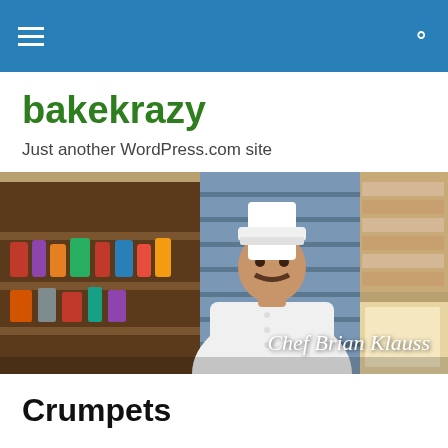bakekrazy navigation bar with hamburger menu and search icon
bakekrazy
Just another WordPress.com site
[Figure (photo): A male chef in white chef's coat and tall white chef's hat standing in a bakery with shelves of baked goods and supplies behind him. Text overlay reads 'Chef Brian Klauss'.]
Crumpets
These are made with both yeast and baking soda and have a bread like flavor. They are fried on a griddle or fry pan and become crispy, chewy and spongy. You then